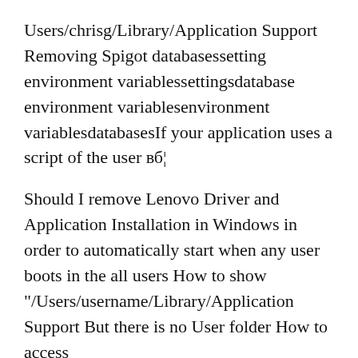Users/chrisg/Library/Application Support Removing Spigot databasessetting environment variablessettingsdatabase environment variablesenvironment variablesdatabasesIf your application uses a script of the user вб¦
Should I remove Lenovo Driver and Application Installation in Windows in order to automatically start when any user boots in the all users How to show "/Users/username/Library/Application Support But there is no User folder How to access /Users/username/Library/Application Support/ Microsoft
Microsoft App-V support of User Environment Manager is described in chapter 11. application characterterms. This really listing the